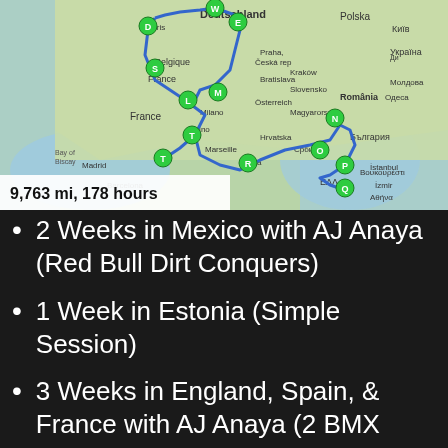[Figure (map): A Google Maps route map showing a driving route across Europe with multiple waypoints marked with green lettered pins (D, W, E, S, L, M, T, R, N, O, P, Q). The route is shown in blue lines traversing through countries including France, Deutschland, Belgique, Italia, Romania, and Greece. The map shows '9,763 mi, 178 hours' in the bottom left corner.]
2 Weeks in Mexico with AJ Anaya (Red Bull Dirt Conquers)
1 Week in Estonia (Simple Session)
3 Weeks in England, Spain, & France with AJ Anaya (2 BMX Contests, BMX Fest, FISE Montpellier)